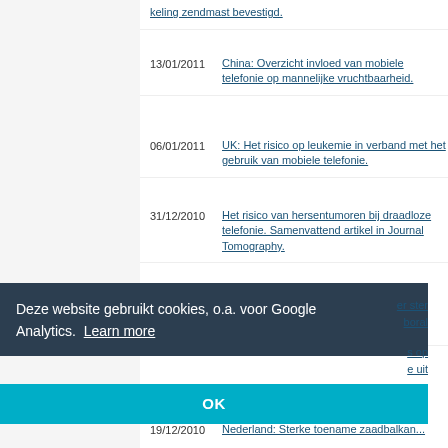keling zendmast bevestigd.
13/01/2011 China: Overzicht invloed van mobiele telefonie op mannelijke vruchtbaarheid.
06/01/2011 UK: Het risico op leukemie in verband met het gebruik van mobiele telefonie.
31/12/2010 Het risico van hersentumoren bij draadloze telefonie. Samenvattend artikel in Journal Tomography.
30/12/2010 UK: C2000 veroorzaakt gezondheidssymptomen maar is er niet verantwoordelijk voor. (!)
Deze website gebruikt cookies, o.a. voor Google Analytics. Learn more
OK
19/12/2010 Nederland: Sterke toename zaadbalkan...